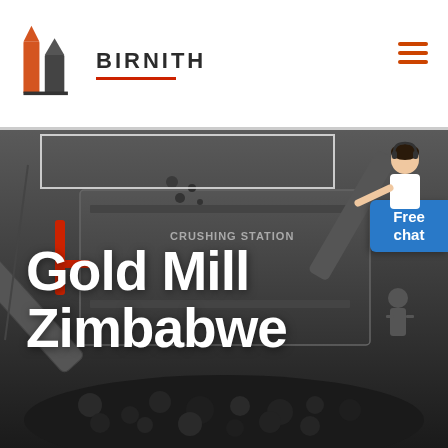[Figure (logo): Birnith company logo: stylized building/column icon in orange and dark grey, with the word BIRNITH in bold dark letters and a red underline, plus hamburger menu icon in orange on the right]
[Figure (photo): Hero background photo of a crushing station with heavy industrial mining machinery, conveyor belts, and a large pile of coal/ore in a dark grey outdoor setting]
Gold Mill Zimbabwe
[Figure (illustration): Chat agent: woman in white blouse with headset gesturing, overlaid with a blue rounded rectangle button labeled 'Free chat']